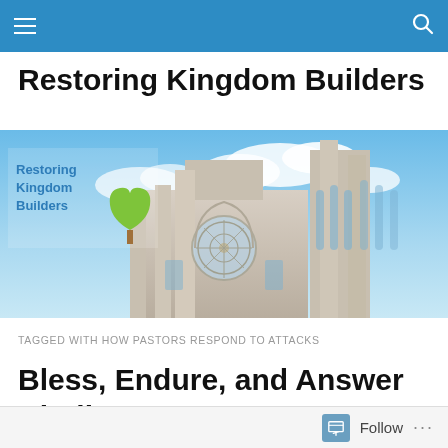Restoring Kingdom Builders
[Figure (photo): Website banner image showing the Restoring Kingdom Builders logo (text with a green tree heart icon) overlaid on a photograph of a Gothic cathedral (York Minster) with blue sky and clouds in the background.]
TAGGED WITH HOW PASTORS RESPOND TO ATTACKS
Bless, Endure, and Answer Kindly
Follow ...